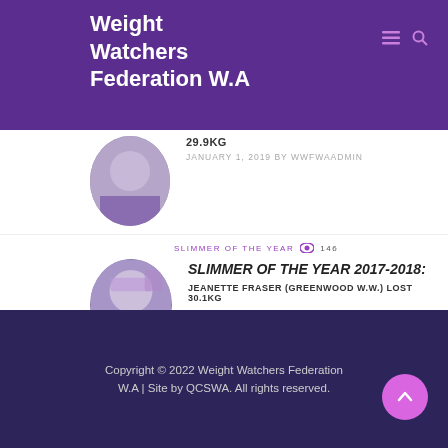Weight Watchers Federation W.A
29.9KG
JANUARY 1, 2019 BY WWFWAADMIN
SLIMMER OF THE YEAR  146
SLIMMER OF THE YEAR 2017-2018:
JEANETTE FRASER (GREENWOOD W.W.) LOST 30.1KG
NOVEMBER 24, 2018 BY WWFWAADMIN
Copyright © 2022 Weight Watchers Federation W.A | Site by QCSWA. All rights reserved.